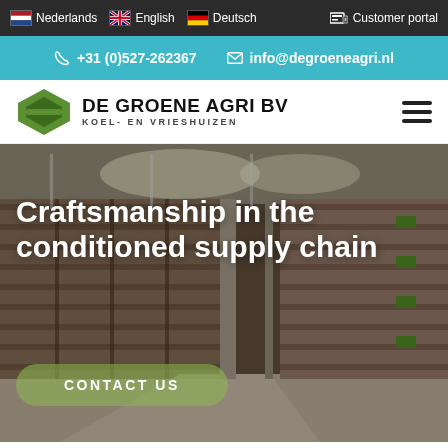Nederlands  English  Deutsch  Customer portal
+31 (0)527-262367  info@degroeneagri.nl
[Figure (logo): De Groene Agri BV logo with green hexagon shape and text DE GROENE AGRI BV / KOEL- EN VRIESHUIZEN]
[Figure (photo): Interior of a large cold storage warehouse showing stacked wooden crates on pallets in long rows with overhead lighting]
Craftsmanship in the conditioned supply chain
CONTACT US